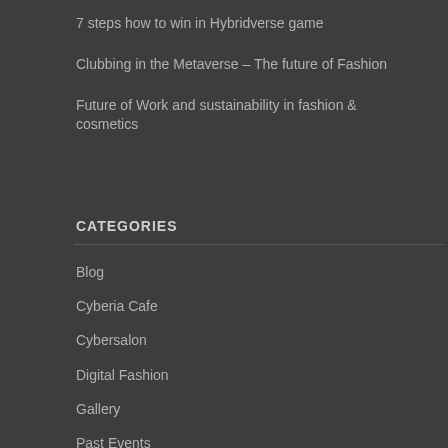7 steps how to win in Hybridverse game
Clubbing in the Metaverse – The future of Fashion
Future of Work and sustainability in fashion & cosmetics
CATEGORIES
Blog
Cyberia Cafe
Cybersalon
Digital Fashion
Gallery
Past Events
Press
Retail Det...